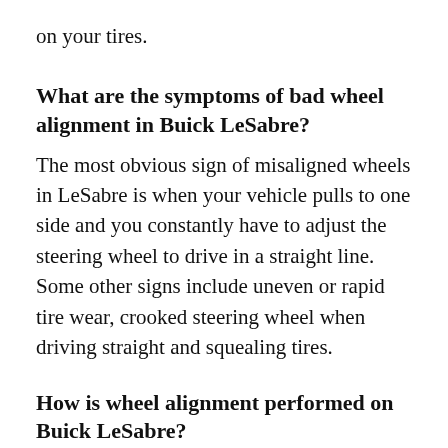on your tires.
What are the symptoms of bad wheel alignment in Buick LeSabre?
The most obvious sign of misaligned wheels in LeSabre is when your vehicle pulls to one side and you constantly have to adjust the steering wheel to drive in a straight line. Some other signs include uneven or rapid tire wear, crooked steering wheel when driving straight and squealing tires.
How is wheel alignment performed on Buick LeSabre?
Wheel alignment is primarily carried out using electrical diagnostic tools. Using